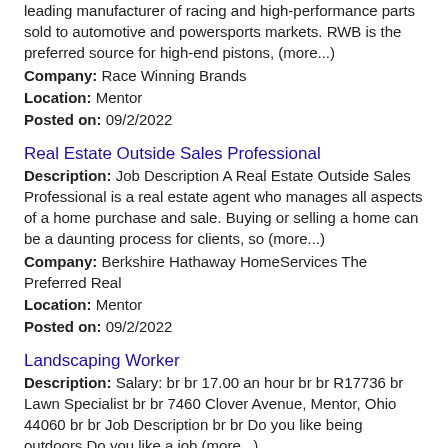leading manufacturer of racing and high-performance parts sold to automotive and powersports markets. RWB is the preferred source for high-end pistons, (more...)
Company: Race Winning Brands
Location: Mentor
Posted on: 09/2/2022
Real Estate Outside Sales Professional
Description: Job Description A Real Estate Outside Sales Professional is a real estate agent who manages all aspects of a home purchase and sale. Buying or selling a home can be a daunting process for clients, so (more...)
Company: Berkshire Hathaway HomeServices The Preferred Real
Location: Mentor
Posted on: 09/2/2022
Landscaping Worker
Description: Salary: br br 17.00 an hour br br R17736 br Lawn Specialist br br 7460 Clover Avenue, Mentor, Ohio 44060 br br Job Description br br Do you like being outdoors Do you like a job (more...)
Company: TruGreen
Location: Mentor
Posted on: 09/2/2022